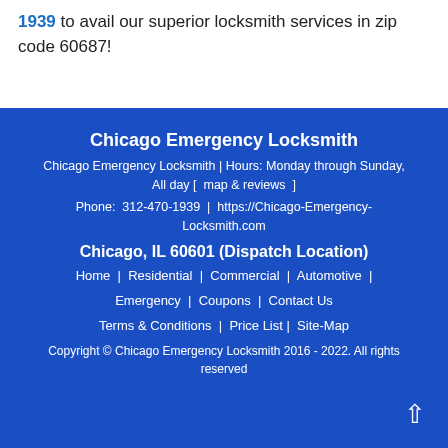1939 to avail our superior locksmith services in zip code 60687!
Chicago Emergency Locksmith
Chicago Emergency Locksmith | Hours: Monday through Sunday, All day [ map & reviews ]
Phone: 312-470-1939 | https://Chicago-Emergency-Locksmith.com
Chicago, IL 60601 (Dispatch Location)
Home | Residential | Commercial | Automotive | Emergency | Coupons | Contact Us
Terms & Conditions | Price List | Site-Map
Copyright © Chicago Emergency Locksmith 2016 - 2022. All rights reserved